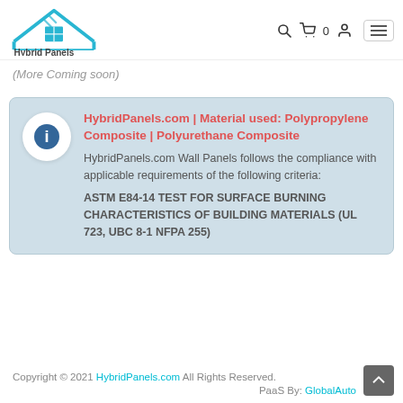Hybrid Panels
(More Coming soon)
HybridPanels.com | Material used: Polypropylene Composite | Polyurethane Composite
HybridPanels.com Wall Panels follows the compliance with applicable requirements of the following criteria:
ASTM E84-14 TEST FOR SURFACE BURNING CHARACTERISTICS OF BUILDING MATERIALS (UL 723, UBC 8-1 NFPA 255)
Copyright © 2021 HybridPanels.com All Rights Reserved.
PaaS By: GlobalAuto